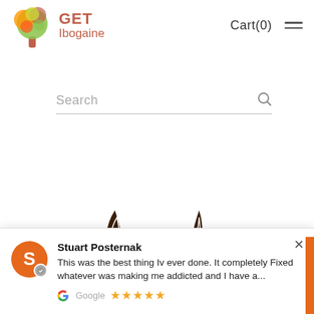[Figure (logo): Get Ibogaine logo with colorful tree icon and text GET Ibogaine in salmon/red color]
Cart(0)
Search
[Figure (illustration): Partial view of a cartoon animal (cat or similar) showing horns/ears and a green spiky element, dark brown color, peeking from bottom of visible area]
Stuart Posternak
This was the best thing Iv ever done. It completely Fixed whatever was making me addicted and I have a...
Google ★★★★★